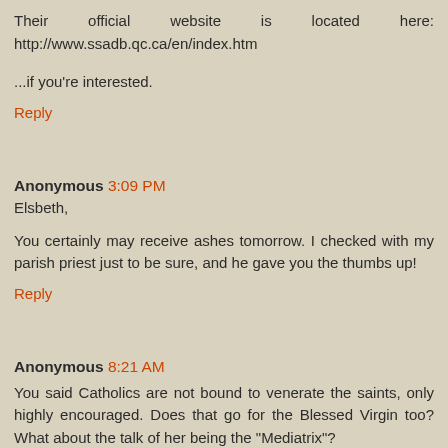Their official website is located here: http://www.ssadb.qc.ca/en/index.htm
...if you're interested.
Reply
Anonymous 3:09 PM
Elsbeth,
You certainly may receive ashes tomorrow. I checked with my parish priest just to be sure, and he gave you the thumbs up!
Reply
Anonymous 8:21 AM
You said Catholics are not bound to venerate the saints, only highly encouraged. Does that go for the Blessed Virgin too? What about the talk of her being the "Mediatrix"?